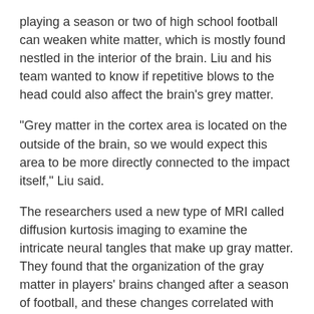playing a season or two of high school football can weaken white matter, which is mostly found nestled in the interior of the brain. Liu and his team wanted to know if repetitive blows to the head could also affect the brain’s grey matter.
“Grey matter in the cortex area is located on the outside of the brain, so we would expect this area to be more directly connected to the impact itself,” Liu said.
The researchers used a new type of MRI called diffusion kurtosis imaging to examine the intricate neural tangles that make up gray matter. They found that the organization of the gray matter in players’ brains changed after a season of football, and these changes correlated with the number and position of head impacts measured by accelerometers mounted inside players’ helmets.
The changes were concentrated in the front and rear of the cerebral cortex, which is responsible for higher-order functions like memory, attention and cognition, and in the centrally located thalamus and putamen, which relay sensory